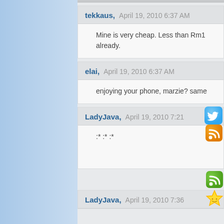tekkaus,   April 19, 2010 6:37 AM
Mine is very cheap. Less than Rm1 already.
elai,   April 19, 2010 6:37 AM
enjoying your phone, marzie? same
LadyJava,   April 19, 2010 7:21
:* :* :*
LadyJava,   April 19, 2010 7:36